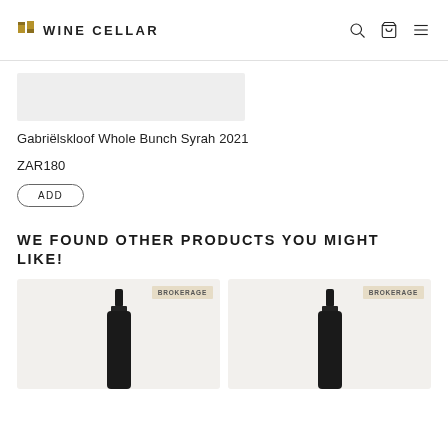WINE CELLAR
[Figure (other): Partial product image strip showing top of wine bottle product photo]
Gabriëlskloof Whole Bunch Syrah 2021
ZAR180
ADD
WE FOUND OTHER PRODUCTS YOU MIGHT LIKE!
[Figure (photo): Wine bottle with BROKERAGE badge label on beige card background]
[Figure (photo): Wine bottle with BROKERAGE badge label on beige card background]